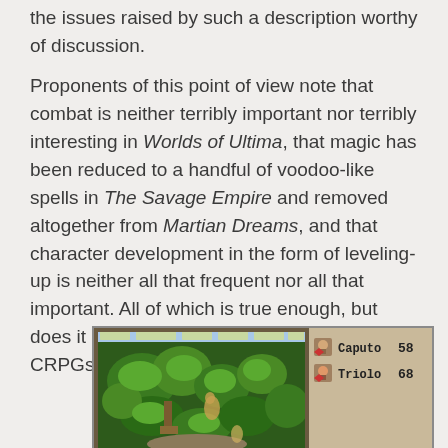the issues raised by such a description worthy of discussion.
Proponents of this point of view note that combat is neither terribly important nor terribly interesting in Worlds of Ultima, that magic has been reduced to a handful of voodoo-like spells in The Savage Empire and removed altogether from Martian Dreams, and that character development in the form of leveling-up is neither all that frequent nor all that important. All of which is true enough, but does it really mean these games aren't CRPGs at all? Where do we draw the lines?
[Figure (screenshot): Screenshot of a CRPG game (likely Worlds of Ultima / The Savage Empire), showing a top-down jungle/forest view on the left side with trees and characters, and a HUD panel on the right showing two party members: Caputo (58) and Triolo (68).]